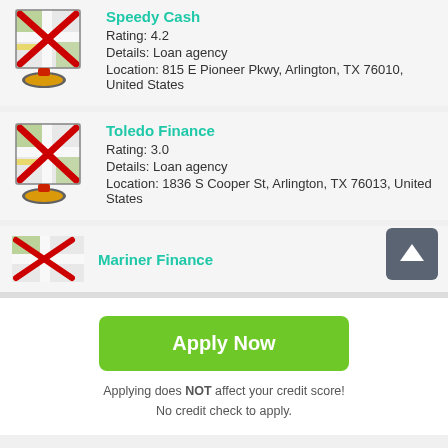[Figure (screenshot): Map thumbnail with red X overlay for Speedy Cash listing]
Speedy Cash
Rating: 4.2
Details: Loan agency
Location: 815 E Pioneer Pkwy, Arlington, TX 76010, United States
[Figure (screenshot): Map thumbnail with red X overlay for Toledo Finance listing]
Toledo Finance
Rating: 3.0
Details: Loan agency
Location: 1836 S Cooper St, Arlington, TX 76013, United States
[Figure (screenshot): Map thumbnail partially visible for Mariner Finance listing]
Mariner Finance
Apply Now
Applying does NOT affect your credit score!
No credit check to apply.